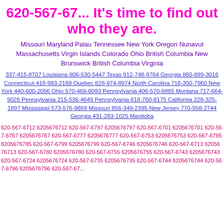620-567-67... It's time to find out who they are.
Missouri Maryland Palau Tennessee New York Oregon Nunavut Massachusetts Virgin Islands Colorado Ohio British Columbia New Brunswick British Columbia Virginia
337-415-8707 Louisiana 806-530-5447 Texas 912-748-9764 Georgia 860-899-3016 Connecticut 418-983-2169 Quebec 828-974-8974 North Carolina 716-350-7960 New York 440-600-2056 Ohio 570-468-6093 Pennsylvania 406-570-8865 Montana 717-664-9026 Pennsylvania 215-536-4649 Pennsylvania 818-760-8175 California 228-325-1897 Mississippi 573-576-9659 Missouri 856-349-2395 New Jersey 770-558-2744 Georgia 431-283-1025 Manitoba
620-567-6712 6205676712 620-567-6797 6205676797 620-567-6701 6205676701 620-567-6767 6205676767 620-567-6777 6205676777 620-567-6753 6205676753 620-567-6785 6205676785 620-567-6799 6205676799 620-567-6746 6205676746 620-567-6713 6205676713 620-567-6780 6205676780 620-567-6755 6205676755 620-567-6743 6205676743 620-567-6724 6205676724 620-567-6735 6205676735 620-567-6744 6205676744 620-567-6796 6205676796 620-567-67...